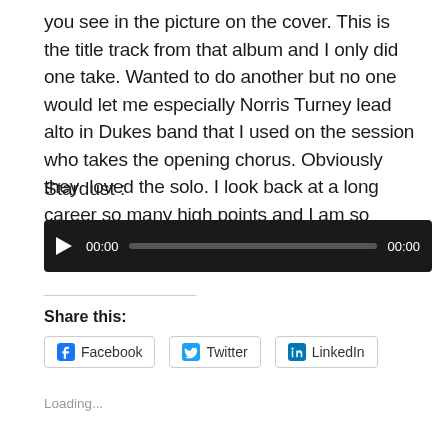you see in the picture on the cover.  This is the title track from that album and I only did one take.  Wanted to do another but no one would let me especially Norris Turney lead alto in Dukes band that I used on the session who takes the opening chorus.  Obviously they  loved the solo.  I look back at a long career so many high points and I am so happy it has been finally documented.
Stardust :
[Figure (screenshot): Audio player widget with black background, play button, time display showing 00:00, progress bar, and end time 00:00]
Share this:
[Figure (infographic): Share buttons row: Facebook, Twitter, LinkedIn with icons and borders]
Loading...